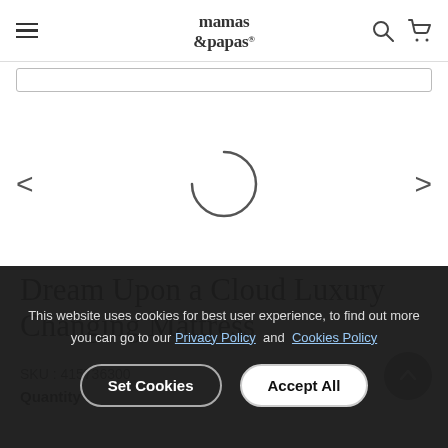[Figure (screenshot): Mamas & Papas website navigation bar with hamburger menu on left, logo in center, search and cart icons on right]
[Figure (screenshot): Loading spinner (partial circle arc) in product image carousel area with left and right navigation arrows]
Dream Upon a Cloud Luxury Changing Mattress
SKU : 415736300
Quantity
This website uses cookies for best user experience, to find out more you can go to our Privacy Policy and Cookies Policy